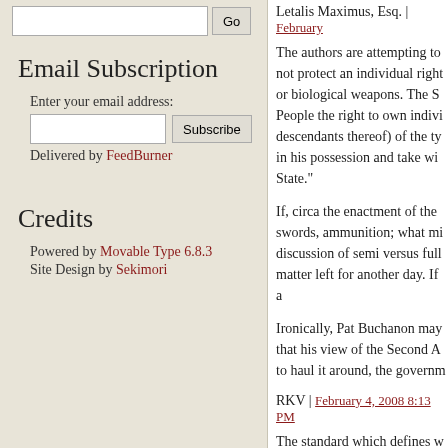Email Subscription
Enter your email address:
Delivered by FeedBurner
Credits
Powered by Movable Type 6.8.3
Site Design by Sekimori
Letalis Maximus, Esq. | February
The authors are attempting to not protect an individual right or biological weapons. The S People the right to own indivi descendants thereof) of the ty in his possession and take wi State."
If, circa the enactment of the swords, ammunition; what mi discussion of semi versus full matter left for another day. If a
Ironically, Pat Buchanon may that his view of the Second A to haul it around, the governm
RKV | February 4, 2008 8:13 PM
The standard which defines w Article 1 Section 8 "the Militia